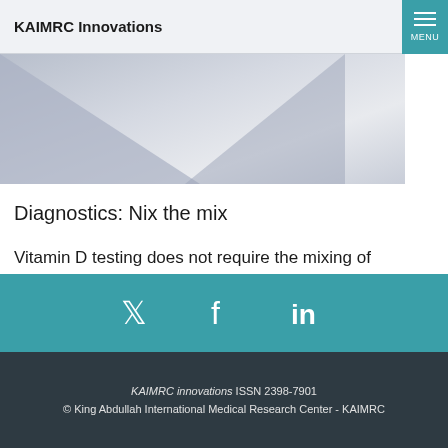KAIMRC Innovations
[Figure (photo): Abstract blurred photo of triangular/geometric shapes in muted blue-grey tones, used as article header image]
Diagnostics: Nix the mix
Vitamin D testing does not require the mixing of samples, a finding that could save lab technicians time and effort.
[Figure (infographic): Social media icons bar with Twitter, Facebook, and LinkedIn icons on teal background]
KAIMRC innovations ISSN 2398-7901 © King Abdullah International Medical Research Center - KAIMRC